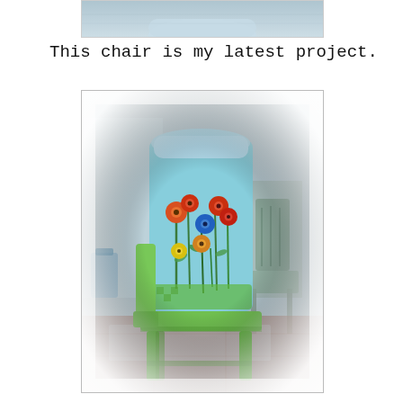[Figure (photo): Partial view of a painted chair with floral design, cropped at top of page]
This chair is my latest project.
[Figure (photo): A wooden chair painted with a light blue background and colorful flowers (red, yellow, blue) on the back, with green painted legs, photographed from behind in a workshop/studio setting with another green wooden chair visible in the background]